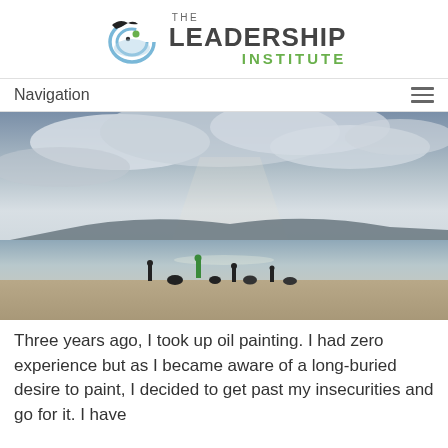[Figure (logo): The Leadership Institute logo with circular bird/wave graphic and green/grey text]
Navigation
[Figure (photo): Beach scene at dusk with people silhouetted on sand, calm water, islands in background, dramatic cloudy sky]
Three years ago, I took up oil painting. I had zero experience but as I became aware of a long-buried desire to paint, I decided to get past my insecurities and go for it. I have